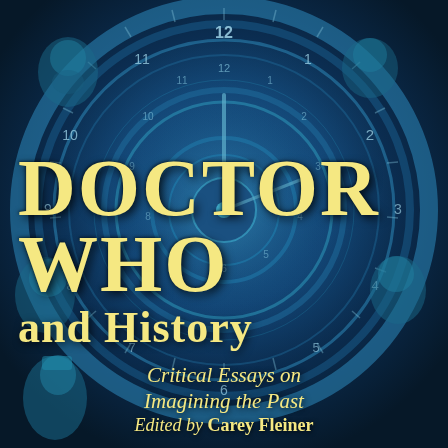[Figure (illustration): Book cover image: a large blue clock face with concentric rings fills the background. Historical figures (ancient Egyptian bust, Victorian-era person, Churchill, bearded man, and others) are overlaid around the clock. The color scheme is predominantly steel blue and teal. Large bold gold/cream serif title text reads DOCTOR WHO and History: Critical Essays on Imagining the Past. Edited by Carey Fleiner appears at the bottom.]
DOCTOR WHO and History
Critical Essays on Imagining the Past
Edited by Carey Fleiner